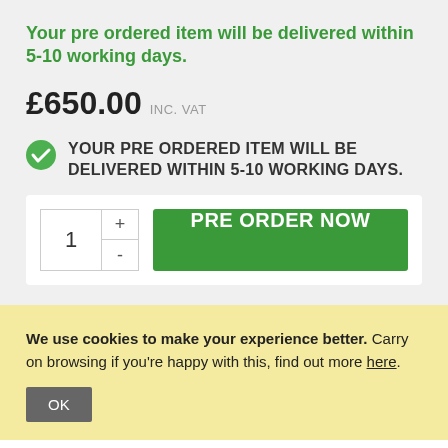Your pre ordered item will be delivered within 5-10 working days.
£650.00 INC. VAT
YOUR PRE ORDERED ITEM WILL BE DELIVERED WITHIN 5-10 WORKING DAYS.
PRE ORDER NOW
We use cookies to make your experience better. Carry on browsing if you're happy with this, find out more here.
OK